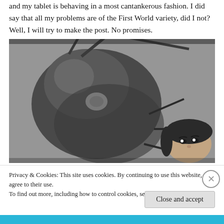and my tablet is behaving in a most cantankerous fashion. I did say that all my problems are of the First World variety, did I not? Well, I will try to make the post. No promises.
[Figure (photo): Black and white photo of a giant ant (close-up head and body) with a woman's face visible in the lower right corner, appearing to look up at the ant.]
Privacy & Cookies: This site uses cookies. By continuing to use this website, you agree to their use.
To find out more, including how to control cookies, see here: Cookie Policy